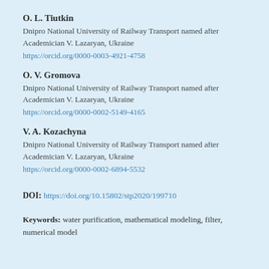O. L. Tiutkin
Dnipro National University of Railway Transport named after Academician V. Lazaryan, Ukraine
https://orcid.org/0000-0003-4921-4758
O. V. Gromova
Dnipro National University of Railway Transport named after Academician V. Lazaryan, Ukraine
https://orcid.org/0000-0002-5149-4165
V. A. Kozachyna
Dnipro National University of Railway Transport named after Academician V. Lazaryan, Ukraine
https://orcid.org/0000-0002-6894-5532
DOI: https://doi.org/10.15802/stp2020/199710
Keywords: water purification, mathematical modeling, filter, numerical model